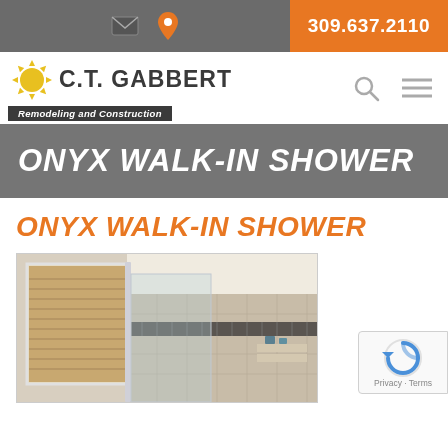309.637.2110
[Figure (logo): C.T. Gabbert Remodeling and Construction logo with sun icon]
ONYX WALK-IN SHOWER
ONYX WALK-IN SHOWER
[Figure (photo): Bathroom walk-in shower with glass door, tile walls, and window with blinds]